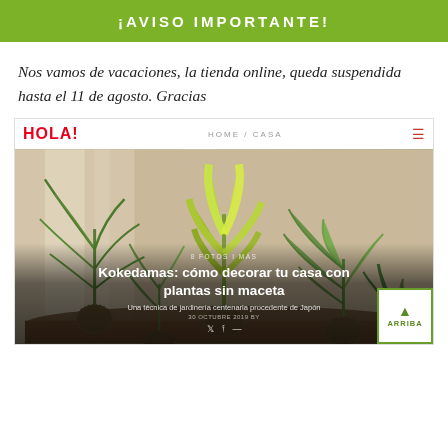¡AVISO IMPORTANTE!
Nos vamos de vacaciones, la tienda online, queda suspendida hasta el 11 de agosto. Gracias
[Figure (screenshot): Screenshot of HOLA! magazine website showing an article about Kokedamas with navigation bar (HOME / CASA), a large photo of indoor plants on a wooden surface, article title 'Kokedamas: cómo decorar tu casa con plantas sin maceta', subtitle 'Una técnica de jardinería centenaria procedente de Japón', social media icons, and an 'ARRIBA' back-to-top button in the bottom right corner.]